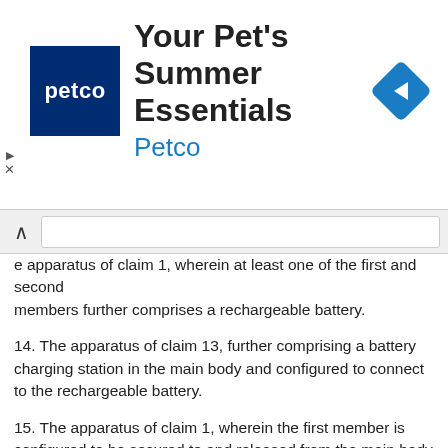[Figure (other): Petco advertisement banner with logo, title 'Your Pet's Summer Essentials', subtitle 'Petco', and navigation arrow icon]
e apparatus of claim 1, wherein at least one of the first and second members further comprises a rechargeable battery.
14. The apparatus of claim 13, further comprising a battery charging station in the main body and configured to connect to the rechargeable battery.
15. The apparatus of claim 1, wherein the first member is configured to be secured to and released from the main body without use of a tool.
16. The apparatus of claim 1, wherein the first member further comprises a handle of the handheld vacuum cleaner.
17. The apparatus of claim 1, wherein the main body further define a compartment configured to receive at least one selected from the group consisting of nozzles and extension tubes.
18. The apparatus of claim 1, further comprising an air intake tube